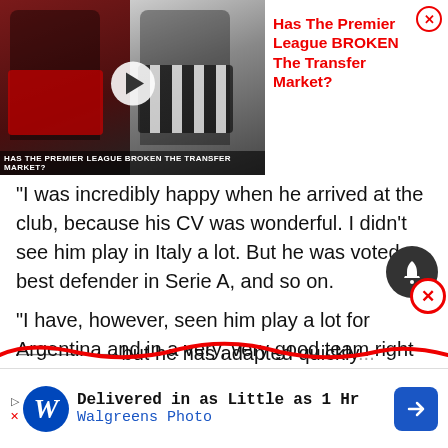[Figure (screenshot): Video thumbnail showing two football players, one holding a Manchester United jersey, another in black and white stripes. Title overlay reads: HAS THE PREMIER LEAGUE BROKEN THE TRANSFER MARKET?]
Has The Premier League BROKEN The Transfer Market?
“I was incredibly happy when he arrived at the club, because his CV was wonderful. I didn’t see him play in Italy a lot. But he was voted best defender in Serie A, and so on.
“I have, however, seen him play a lot for Argentina and in a very, very good team right now, he’s one of the most important players. Certainly, number one in defence.
“I was happy when he arrived. I knew it would take a little
but he has adapted quickly
[Figure (screenshot): Walgreens Photo advertisement: Delivered in as Little as 1 Hr, Walgreens Photo]